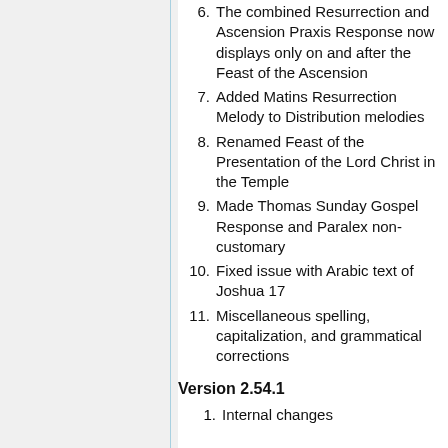6. The combined Resurrection and Ascension Praxis Response now displays only on and after the Feast of the Ascension
7. Added Matins Resurrection Melody to Distribution melodies
8. Renamed Feast of the Presentation of the Lord Christ in the Temple
9. Made Thomas Sunday Gospel Response and Paralex non-customary
10. Fixed issue with Arabic text of Joshua 17
11. Miscellaneous spelling, capitalization, and grammatical corrections
Version 2.54.1
1. Internal changes